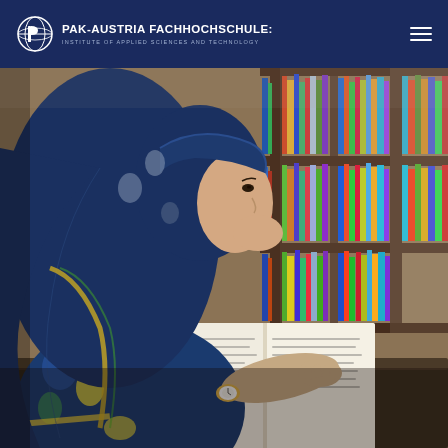PAK-AUSTRIA FACHHOCHSCHULE: INSTITUTE OF APPLIED SCIENCES AND TECHNOLOGY
[Figure (photo): A female student wearing a blue floral hijab reads an open book at a library desk. Behind her, wooden bookshelves filled with colorful books are visible.]